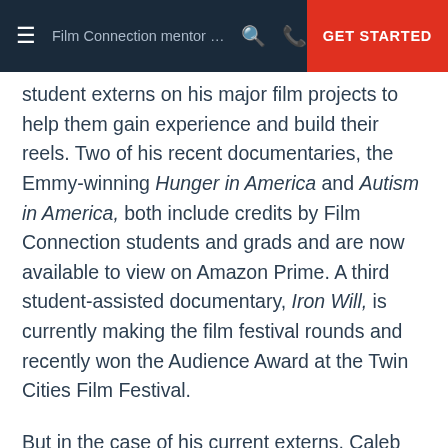Film Connection mentor Zac Adams (Euhos, Nashville, TN) is known for inv... | GET STARTED
student externs on his major film projects to help them gain experience and build their reels. Two of his recent documentaries, the Emmy-winning Hunger in America and Autism in America, both include credits by Film Connection students and grads and are now available to view on Amazon Prime. A third student-assisted documentary, Iron Will, is currently making the film festival rounds and recently won the Audience Award at the Twin Cities Film Festival.
But in the case of his current externs, Caleb Dixon and Brandon Russell, Zac seems to have turned the experience knob up a notch or two. When we caught up with Zac a few weeks ago, the shooting schedule sounded so full that we felt lucky to have